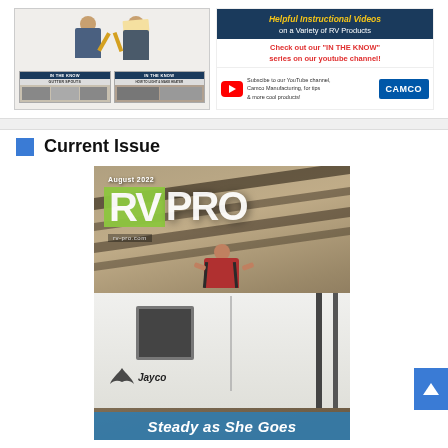[Figure (photo): Camco advertisement banner featuring instructional videos for RV products, with two people holding tools on the left, YouTube channel promotion, and Camco logo on the right]
Current Issue
[Figure (photo): Cover of RV Pro magazine, August 2022 issue, showing a person working on top of a Jayco RV, with the RV PRO logo, rv-pro.com website URL, and 'Steady as She Goes' text at the bottom]